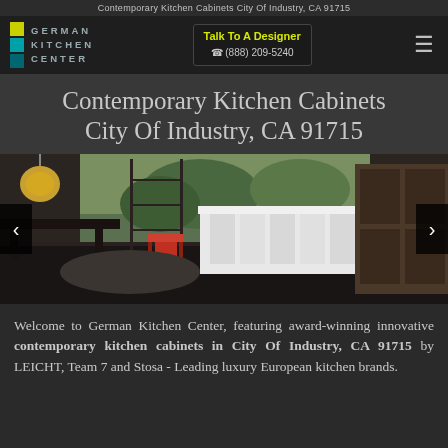Contemporary Kitchen Cabinets City Of Industry, CA 91715
[Figure (logo): German Kitchen Center logo with colored squares (yellow, teal, dark teal) and text]
Talk To A Designer
(888) 209-5240
Contemporary Kitchen Cabinets City Of Industry, CA 91715
[Figure (photo): Contemporary open-plan kitchen with dark wood cabinets, white island, red chairs, dark floor, and shelving unit with garden view]
Welcome to German Kitchen Center, featuring award-winning innovative contemporary kitchen cabinets in City Of Industry, CA 91715 by LEICHT, Team 7 and Stosa - Leading luxury European kitchen brands.